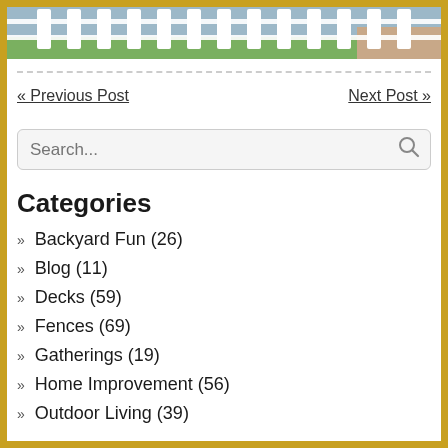[Figure (photo): Partial view of a white picket fence with green grass and brick/concrete path in background]
« Previous Post    Next Post »
Search...
Categories
Backyard Fun (26)
Blog (11)
Decks (59)
Fences (69)
Gatherings (19)
Home Improvement (56)
Outdoor Living (39)